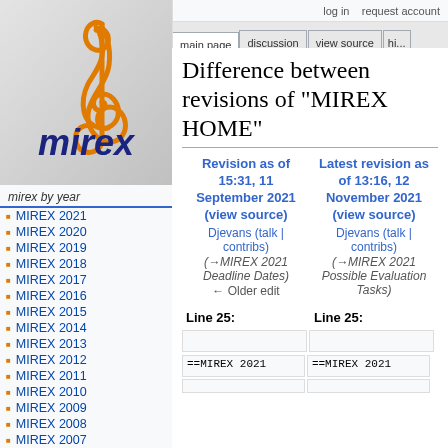log in   request account
main page | discussion | view source | hi...
[Figure (logo): MIREX logo with orange treble clef and dark blue 'mirex' text]
mirex by year
MIREX 2021
MIREX 2020
MIREX 2019
MIREX 2018
MIREX 2017
MIREX 2016
MIREX 2015
MIREX 2014
MIREX 2013
MIREX 2012
MIREX 2011
MIREX 2010
MIREX 2009
MIREX 2008
MIREX 2007
Difference between revisions of "MIREX HOME"
| Revision as of 15:31, 11 September 2021 (view source) | Latest revision as of 13:16, 12 November 2021 (view source) |
| --- | --- |
| Djevans (talk | contribs) | Djevans (talk | contribs) |
| (→MIREX 2021 Deadline Dates) | (→MIREX 2021 Possible Evaluation Tasks) |
| ← Older edit |  |
Line 25:
Line 25:
==MIREX 2021
==MIREX 2021